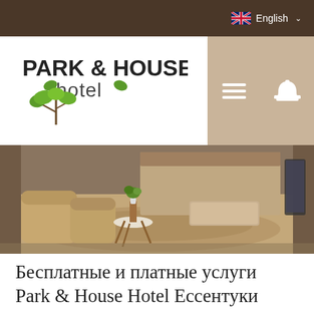English
[Figure (logo): Park & House Hotel logo with green tree and leaves]
[Figure (photo): Hotel room interior with beige armchairs, round white table, carpet, and bed]
Бесплатные и платные услуги Park & House Hotel Ессентуки